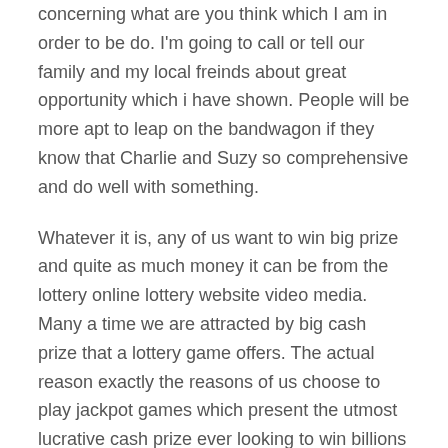concerning what are you think which I am in order to be do. I'm going to call or tell our family and my local freinds about great opportunity which i have shown. People will be more apt to leap on the bandwagon if they know that Charlie and Suzy so comprehensive and do well with something.
Whatever it is, any of us want to win big prize and quite as much money it can be from the lottery online lottery website video media. Many a time we are attracted by big cash prize that a lottery game offers. The actual reason exactly the reasons of us choose to play jackpot games which present the utmost lucrative cash prize ever looking to win billions overnight.
See, a lot of people don't fraud. They think that these people could get a free website, apply certain free classified sites to advertise, and hope that sales will just be. These people want everything for free and generate income at duration. It doesn't work that way.
There are pools which exist that allow lottery players from all over